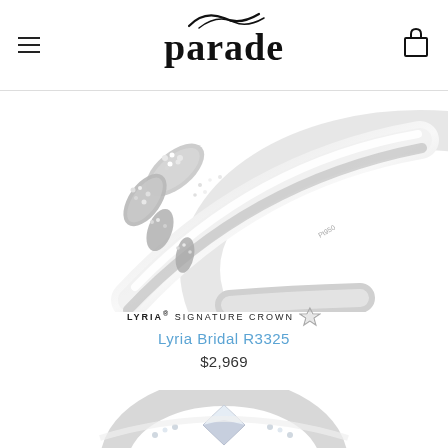parade (logo with hamburger menu and cart icon)
[Figure (photo): Close-up photo of a diamond engagement ring with floral leaf design on the band, white gold, shown against white background]
[Figure (logo): LYRIA SIGNATURE CROWN badge with diamond icon]
Lyria Bridal R3325
$2,969
[Figure (photo): Partial photo of another diamond ring at bottom of page]